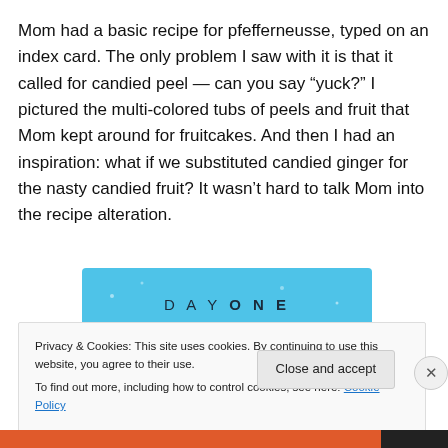Mom had a basic recipe for pfefferneusse, typed on an index card. The only problem I saw with it is that it called for candied peel — can you say “yuck?” I pictured the multi-colored tubs of peels and fruit that Mom kept around for fruitcakes. And then I had an inspiration: what if we substituted candied ginger for the nasty candied fruit? It wasn’t hard to talk Mom into the recipe alteration.
[Figure (other): Day One app advertisement banner on light blue background with text 'DAY ONE - The only journaling app you'll ever need.']
Privacy & Cookies: This site uses cookies. By continuing to use this website, you agree to their use.
To find out more, including how to control cookies, see here: Cookie Policy
Close and accept